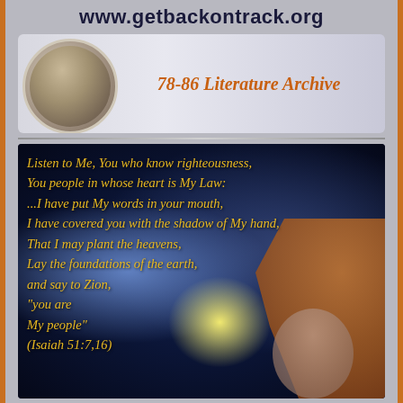www.getbackontrack.org
[Figure (illustration): Circular photo of a person reading/studying books, within a banner reading '78-86 Literature Archive']
[Figure (illustration): Cosmic/space background with a lion and two children, overlaid with italic golden scripture text: 'Listen to Me, You who know righteousness, You people in whose heart is My Law: ...I have put My words in your mouth, I have covered you with the shadow of My hand, That I may plant the heavens, Lay the foundations of the earth, and say to Zion, "you are My people" (Isaiah 51:7,16)']
Listen to Me, You who know righteousness, You people in whose heart is My Law: ...I have put My words in your mouth, I have covered you with the shadow of My hand, That I may plant the heavens, Lay the foundations of the earth, and say to Zion, "you are My people" (Isaiah 51:7,16)